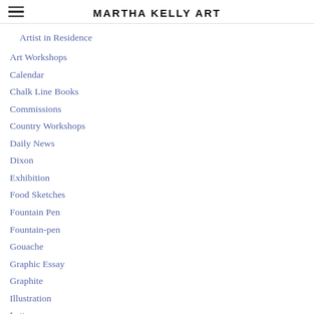MARTHA KELLY ART
Artist in Residence
Art Workshops
Calendar
Chalk Line Books
Commissions
Country Workshops
Daily News
Dixon
Exhibition
Food Sketches
Fountain Pen
Fountain-pen
Gouache
Graphic Essay
Graphite
Illustration
Letterpress
Liturgical